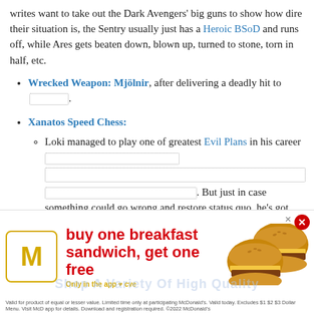writes want to take out the Dark Avengers' big guns to show how dire their situation is, the Sentry usually just has a Heroic BSoD and runs off, while Ares gets beaten down, blown up, turned to stone, torn in half, etc.
Wrecked Weapon: Mjölnir, after delivering a deadly hit to [redacted].
Xanatos Speed Chess:
Loki managed to play one of greatest Evil Plans in his career [redacted]. But just in case something could go wrong and restore status quo, he's got several other plans prepared, and apparently has backup plans for his backup plans.
Nate Grey pulls this off fairly effec... [redacted] High Quality
[Figure (other): McDonald's advertisement overlay: 'buy one breakfast sandwich, get one free' with McDonald's logo, burger images, 'Only in the app' text, and fine print disclaimer. Red X close button in top right corner.]